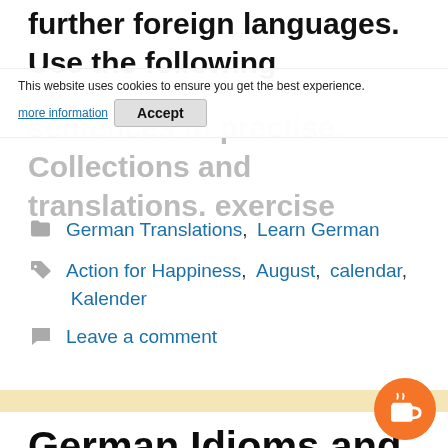use is here in English, where you also find further foreign languages. Use the following sentences to practise. Collections and translations, exercise and more are
This website uses cookies to ensure you get the best experience. more information Accept
German Translations, Learn German
Action for Happiness, August, calendar, Kalender
Leave a comment
German Idioms and Tongue Twisters with the letter I